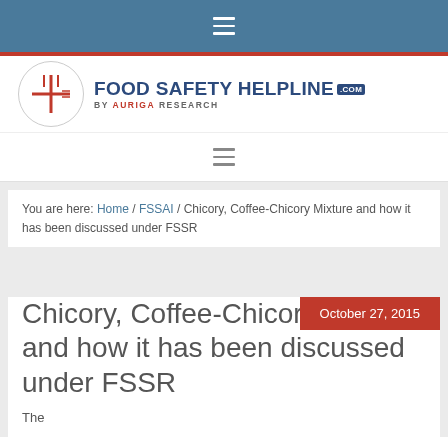≡ (hamburger menu icon)
[Figure (logo): Food Safety Helpline .com by Auriga Research logo with red cross/fork icon in circle]
≡ (second hamburger menu icon)
You are here: Home / FSSAI / Chicory, Coffee-Chicory Mixture and how it has been discussed under FSSR
October 27, 2015
Chicory, Coffee-Chicory Mixture and how it has been discussed under FSSR
The